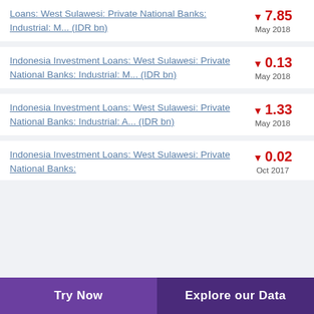Loans: West Sulawesi: Private National Banks: Industrial: M... (IDR bn) ▼ 7.85 May 2018
Indonesia Investment Loans: West Sulawesi: Private National Banks: Industrial: M... (IDR bn) ▼ 0.13 May 2018
Indonesia Investment Loans: West Sulawesi: Private National Banks: Industrial: A... (IDR bn) ▼ 1.33 May 2018
Indonesia Investment Loans: West Sulawesi: Private National Banks: ▼ 0.02 Oct 2017
Try Now  Explore our Data